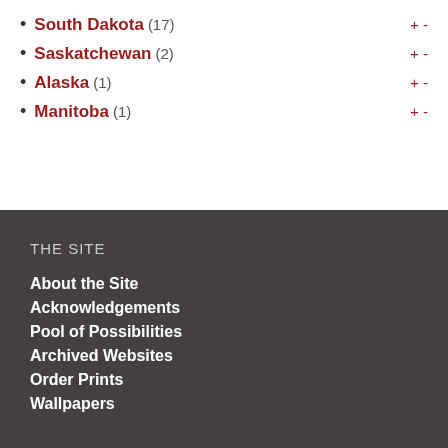South Dakota (17)
Saskatchewan (2)
Alaska (1)
Manitoba (1)
THE SITE
About the Site
Acknowledgements
Pool of Possibilities
Archived Websites
Order Prints
Wallpapers